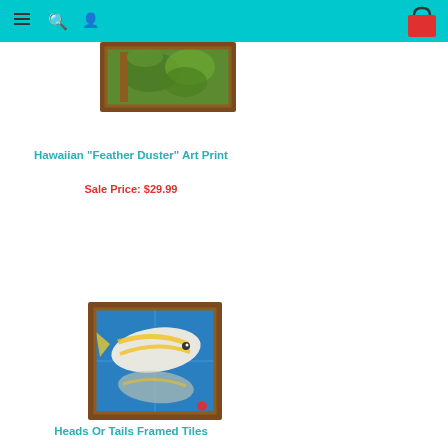Navigation header with hamburger menu, search, user, and cart icons
[Figure (photo): Framed art print showing a tropical Hawaiian scene with green foliage, partially visible at top of page]
Hawaiian "Feather Duster" Art Print
Sale Price: $29.99
[Figure (photo): Framed tile art showing a fish (Heads Or Tails) with blue background, yellow and white coloring, in a brown wood frame]
Heads Or Tails Framed Tiles